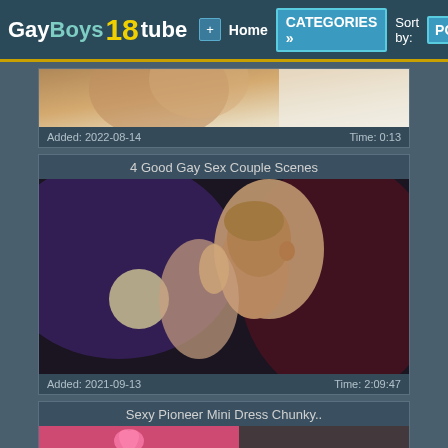GayBoys 18 tube | Home | CATEGORIES | Sort by: PO
[Figure (photo): Partial view of a person's torso/arm against a white background, cropped at top]
Added: 2022-08-14    Time: 0:13
4 Good Gay Sex Couple Scenes
[Figure (photo): Close-up of a young man's face and back/neck in profile against a dark purple/red background]
Added: 2021-09-13    Time: 2:09:47
Sexy Pioneer Mini Dress Chunky..
[Figure (photo): Partial view of pink clothing with a heart detail, partially visible at bottom of page]